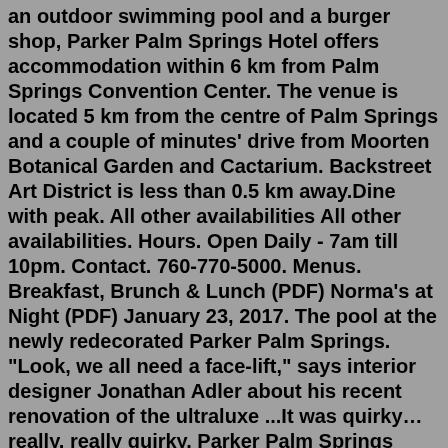an outdoor swimming pool and a burger shop, Parker Palm Springs Hotel offers accommodation within 6 km from Palm Springs Convention Center. The venue is located 5 km from the centre of Palm Springs and a couple of minutes' drive from Moorten Botanical Garden and Cactarium. Backstreet Art District is less than 0.5 km away.Dine with peak. All other availabilities All other availabilities. Hours. Open Daily - 7am till 10pm. Contact. 760-770-5000. Menus. Breakfast, Brunch & Lunch (PDF) Norma's at Night (PDF) January 23, 2017. The pool at the newly redecorated Parker Palm Springs. "Look, we all need a face-lift," says interior designer Jonathan Adler about his recent renovation of the ultraluxe ...It was quirky… really, really quirky. Parker Palm Springs signage. As you pull up, the exterior of the hotel is pretty simple and characteristic of the area. The hotel has a $35 per night resort fee, which includes valet parking. So as soon as we pulled up the car was immediately parked.At Norma's at Parker Palm Springs the dining experience begins with a shot of